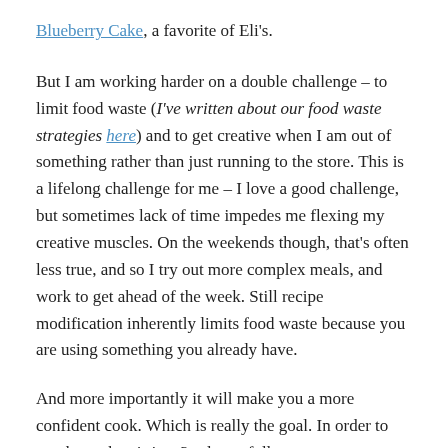Blueberry Cake, a favorite of Eli's.
But I am working harder on a double challenge – to limit food waste (I've written about our food waste strategies here) and to get creative when I am out of something rather than just running to the store. This is a lifelong challenge for me – I love a good challenge, but sometimes lack of time impedes me flexing my creative muscles. On the weekends though, that's often less true, and so I try out more complex meals, and work to get ahead of the week. Still recipe modification inherently limits food waste because you are using something you already have.
And more importantly it will make you a more confident cook. Which is really the goal. In order to get there, there's just 3 rules to follow.